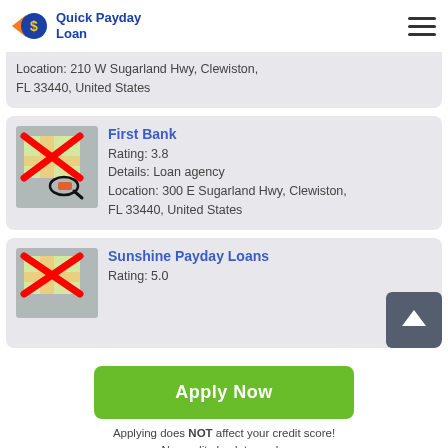Quick Payday Loan
Location: 210 W Sugarland Hwy, Clewiston, FL 33440, United States
First Bank
Rating: 3.8
Details: Loan agency
Location: 300 E Sugarland Hwy, Clewiston, FL 33440, United States
Sunshine Payday Loans
Rating: 5.0
Apply Now
Applying does NOT affect your credit score!
No credit check to apply.